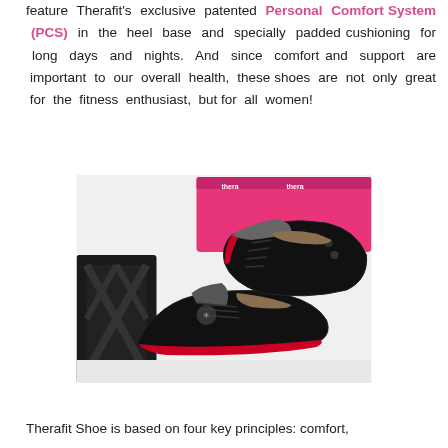feature Therafit's exclusive patented Personal Comfort System (PCS) in the heel base and specially padded cushioning for long days and nights. And since comfort and support are important to our overall health, these shoes are not only great for the fitness enthusiast, but for all women!
[Figure (photo): Two black Therafit athletic shoes laid flat on a white surface, with a pink Therafit shoe box in the background. A dark shoe box is partially visible on the left.]
Therafit Shoe is based on four key principles: comfort,